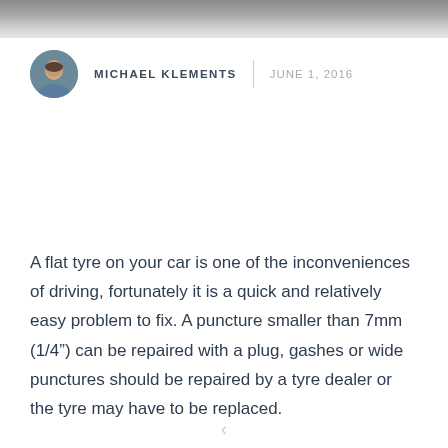[Figure (photo): Dark grayscale header image showing blurred road or ground texture]
MICHAEL KLEMENTS | JUNE 1, 2016
A flat tyre on your car is one of the inconveniences of driving, fortunately it is a quick and relatively easy problem to fix. A puncture smaller than 7mm (1/4") can be repaired with a plug, gashes or wide punctures should be repaired by a tyre dealer or the tyre may have to be replaced.